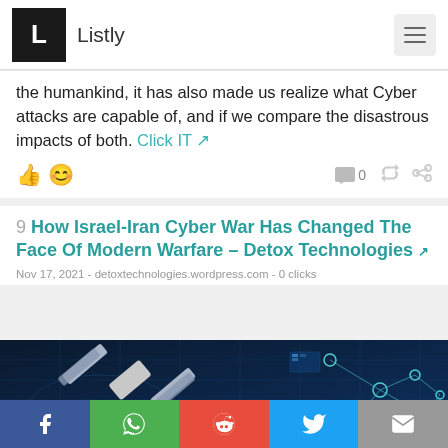Listly
the humankind, it has also made us realize what Cyber attacks are capable of, and if we compare the disastrous impacts of both. Click IT
9 How Israel-Iran Cyber War Has Changed The Face Of Modern Warfare – Detox Technologies
Nov 17, 2021 - detoxtechnologies.wordpress.com - 0 clicks
[Figure (photo): Dark blue tech background showing satellite and network nodes representing cyber warfare theme, with an orange 'Open in App' button overlay]
Social share bar: Facebook, WhatsApp, Reddit, Twitter, Email